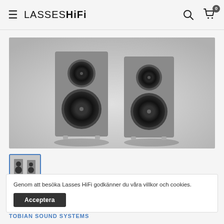LASSES HiFi
[Figure (photo): Two gray bookshelf speakers (Tobian Sound Systems 12FH) side by side on a light gray background]
[Figure (photo): Thumbnail image of the two Tobian Sound Systems 12FH speakers]
Genom att besöka Lasses HiFi godkänner du våra villkor och cookies.
Acceptera
Tobian Sound Systems 12FH
TOBIAN SOUND SYSTEMS